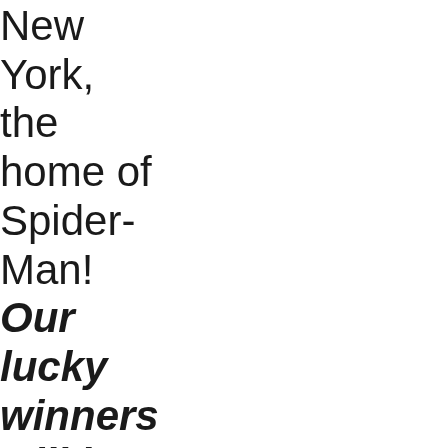New York, the home of Spider-Man! Our lucky winners will be put up in style at the world-famous Chelsea Hotel and will be given $200 spending money